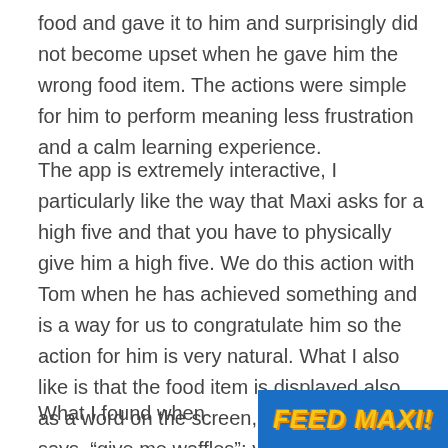food and gave it to him and surprisingly did not become upset when he gave him the wrong food item. The actions were simple for him to perform meaning less frustration and a calm learning experience.
The app is extremely interactive, I particularly like the way that Maxi asks for a high five and that you have to physically give him a high five. We do this action with Tom when he has achieved something and is a way for us to congratulate him so the action for him is very natural. What I also like is that the food item is displayed also as a word on the screen, so when Maxi says, “give me waffles”; you see the word ‘waffles’ on the screen. I also like the choice of food items in that they are children friendly, such as chicken nuggets and yogurt.
What I found when
[Figure (screenshot): Screenshot of a colorful app title screen with yellow italic text on blue background reading 'FEED MAXI']